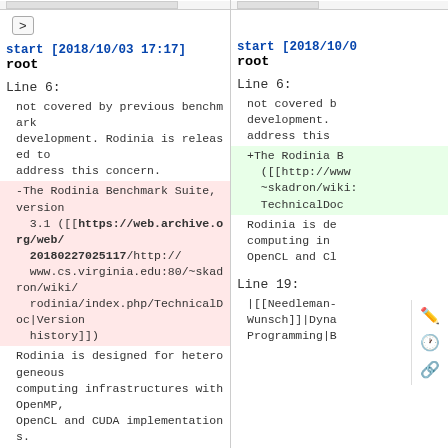start [2018/10/03 17:17]
root
Line 6:
not covered by previous benchmark
development. Rodinia is released to
address this concern.
-The Rodinia Benchmark Suite, version 3.1 ([[https://web.archive.org/web/20180227025117/http://www.cs.virginia.edu:80/~skadron/wiki/rodinia/index.php/TechnicalDoc|Version history]])
Rodinia is designed for heterogeneous computing infrastructures with OpenMP, OpenCL and CUDA implementations.
Line 19:
|[[Needleman-Wunsch|Needleman-Wunsch]]|Dynamic Programming|Bioinformatics|CUDA, OMP, OCL|←
start [2018/10/0
root
Line 6:
not covered b
development.
address this
+The Rodinia B
([[http://www
~skadron/wiki:
TechnicalDoc
Rodinia is de
computing in
OpenCL and CI
Line 19:
|[[Needleman-
Wunsch]]|Dyna
Programming|B